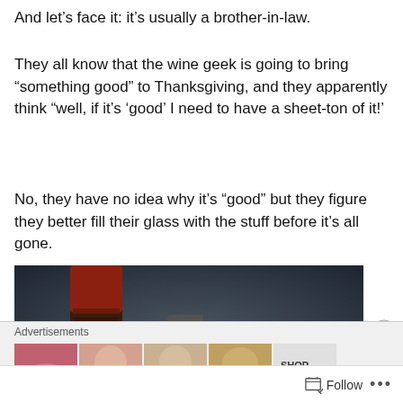And let's face it: it's usually a brother-in-law.
They all know that the wine geek is going to bring “something good” to Thanksgiving, and they apparently think “well, if it’s ‘good’ I need to have a sheet-ton of it!’
No, they have no idea why it’s “good” but they figure they better fill their glass with the stuff before it’s all gone.
[Figure (photo): Close-up of the top of a wine bottle with a red foil capsule, blurred dark background with a blue light bokeh spot visible.]
Advertisements
[Figure (photo): Advertisement thumbnails showing close-up images of faces/lips, with SHOP text visible on the rightmost thumbnail.]